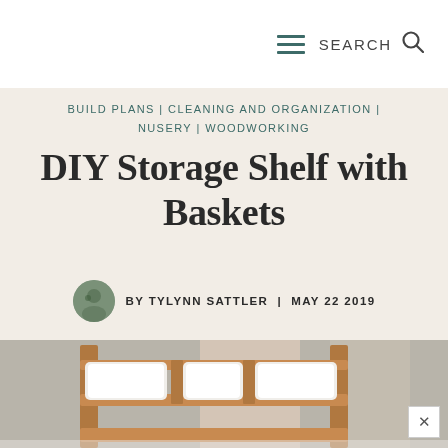SEARCH
BUILD PLANS | CLEANING AND ORGANIZATION | NUSERY | WOODWORKING
DIY Storage Shelf with Baskets
BY TYLYNN SATTLER | MAY 22 2019
[Figure (photo): A wooden storage shelf with three white rectangular baskets/bins sitting on top shelf and partial view of lower shelf, with draped fabric in background]